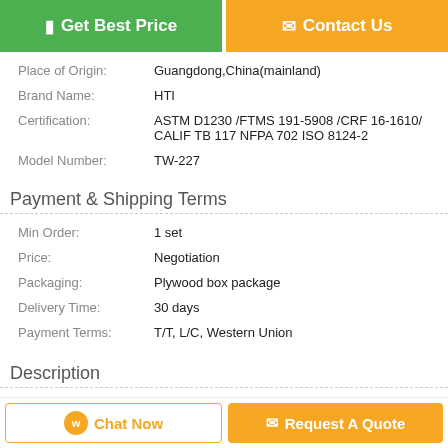Get Best Price
Contact Us
| Place of Origin: | Guangdong,China(mainland) |
| Brand Name: | HTI |
| Certification: | ASTM D1230 /FTMS 191-5908 /CRF 16-1610/ CALIF TB 117 NFPA 702 ISO 8124-2 |
| Model Number: | TW-227 |
Payment & Shipping Terms
| Min Order: | 1 set |
| Price: | Negotiation |
| Packaging: | Plywood box package |
| Delivery Time: | 30 days |
| Payment Terms: | T/T, L/C, Western Union |
Description
Chat Now
Request A Quote